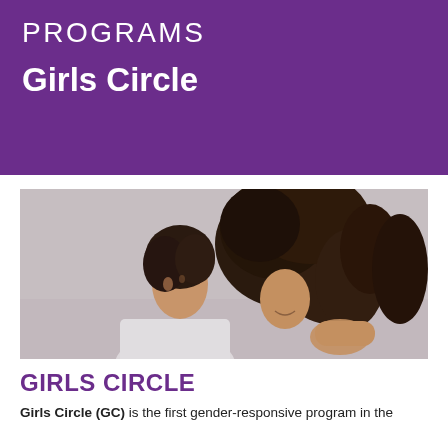PROGRAMS
Girls Circle
[Figure (photo): Two young women with curly hair, one resting her head on the other's shoulder, photographed from the side against a gray background.]
GIRLS CIRCLE
Girls Circle (GC) is the first gender-responsive program in the